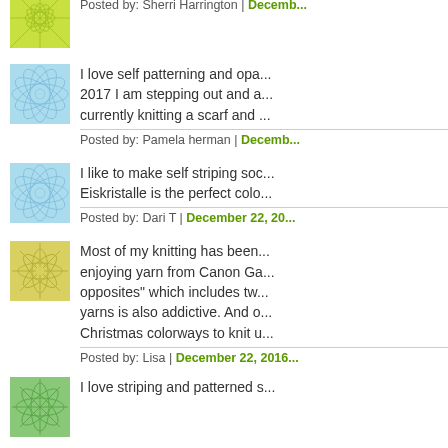[Figure (illustration): Small square thumbnail with green/lime radial pattern on white background (top, partially visible)]
Posted by: Sherri Harrington | Decemb...
[Figure (illustration): Small square thumbnail with blue circular/crystal pattern on light blue background]
I love self patterning and opa... 2017 I am stepping out and a... currently knitting a scarf and ...
Posted by: Pamela herman | Decemb...
[Figure (illustration): Small square thumbnail with blue circular/crystal pattern on light blue background]
I like to make self striping soc... Eiskristalle is the perfect colo...
Posted by: Dari T | December 22, 20...
[Figure (illustration): Small square thumbnail with yellow/green sunflower/starburst pattern]
Most of my knitting has been... enjoying yarn from Canon Ga... opposites" which includes tw... yarns is also addictive. And o... Christmas colorways to knit u...
Posted by: Lisa | December 22, 2016...
[Figure (illustration): Small square thumbnail with green/teal radial leaf pattern (bottom, partially visible)]
I love striping and patterned s...